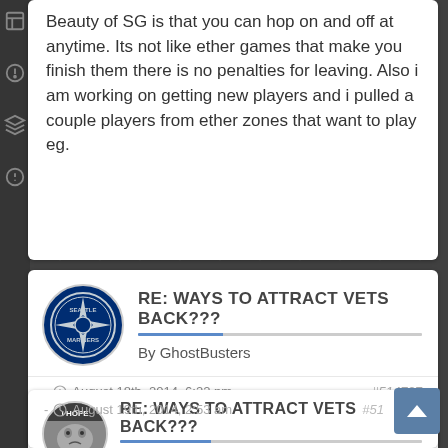Beauty of SG is that you can hop on and off at anytime. Its not like ether games that make you finish them there is no penalties for leaving. Also i am working on getting new players and i pulled a couple players from ether zones that want to play eg.
RE: WAYS TO ATTRACT VETS BACK???
By GhostBusters
- August 18th, 2014, 6:22 pm   #514727
I am also married and have a daughter and i don't play all the time ether but i have time to play.
RE: WAYS TO ATTRACT VETS BACK???
By Lee
- August 19th, 2014, 2:53 am   #51...